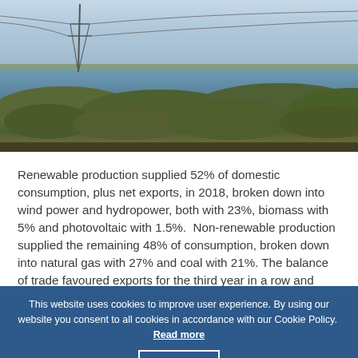[Figure (photo): Landscape photo showing power transmission lines and tower on the left, a wide river or lake in the middle distance, with shrubs and vegetation in the foreground, under a pale blue sky.]
Renewable production supplied 52% of domestic consumption, plus net exports, in 2018, broken down into wind power and hydropower, both with 23%, biomass with 5% and photovoltaic with 1.5%.  Non-renewable production supplied the remaining 48% of consumption, broken down into natural gas with 27% and coal with 21%. The balance of trade favoured exports for the third year in a row and amounted to around 5% of domestic consumption.
This website uses cookies to improve user experience. By using our website you consent to all cookies in accordance with our Cookie Policy.  Read more   I agree